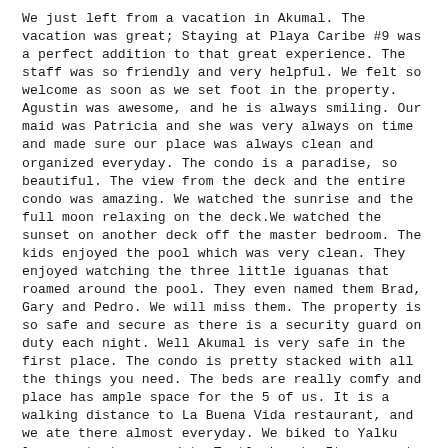We just left from a vacation in Akumal. The vacation was great; Staying at Playa Caribe #9 was a perfect addition to that great experience. The staff was so friendly and very helpful. We felt so welcome as soon as we set foot in the property. Agustin was awesome, and he is always smiling. Our maid was Patricia and she was very always on time and made sure our place was always clean and organized everyday. The condo is a paradise, so beautiful. The view from the deck and the entire condo was amazing. We watched the sunrise and the full moon relaxing on the deck.We watched the sunset on another deck off the master bedroom. The kids enjoyed the pool which was very clean. They enjoyed watching the three little iguanas that roamed around the pool. They even named them Brad, Gary and Pedro. We will miss them. The property is so safe and secure as there is a security guard on duty each night. Well Akumal is very safe in the first place. The condo is pretty stacked with all the things you need. The beds are really comfy and place has ample space for the 5 of us. It is a walking distance to La Buena Vida restaurant, and we ate there almost everyday. We biked to Yalku lagoon, to town, and to Turtle beach. Its a great way to ride a bike around town as traffic and parking can be a hassle in town. I truly recommend Playa Caribe #9 to anyone who wants to stay in Akumal. And the owner Shari is great, accommodating, prompt communicator, and has lots of ideas and suggestion to add to your great vacation.